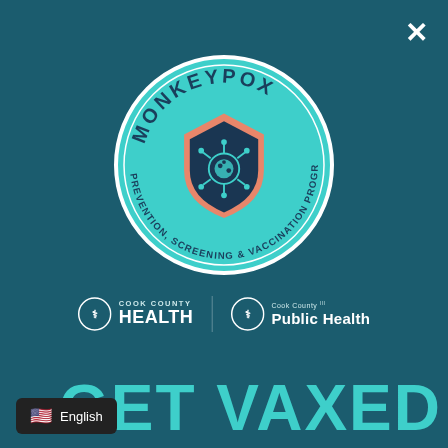[Figure (logo): Monkeypox Prevention, Screening & Vaccination Program circular badge/seal in teal color with shield icon containing virus graphic, curved text reading MONKEYPOX on top and PREVENTION, SCREENING & VACCINATION PROGRAM around bottom]
[Figure (logo): Cook County Health logo - circular emblem with text COOK COUNTY HEALTH]
[Figure (logo): Cook County Public Health logo - circular emblem with text Cook County Public Health]
GET VAXED
English